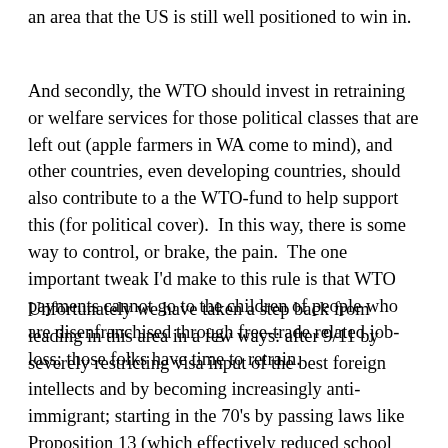an area that the US is still well positioned to win in.
And secondly, the WTO should invest in retraining or welfare services for those political classes that are left out (apple farmers in WA come to mind), and other countries, even developing countries, should also contribute to a the WTO-fund to help support this (for political cover).  In this way, there is some way to control, or brake, the pain.  The one important tweak I'd make to this rule is that WTO payments cannot go to the children of people who are disenfranchised through free-trade related job-loss; those folks have time to retrain.
Unfortunately we have taken a step back from leading in this area in a few ways: after 9/11 by severely restricting visa input of the best foreign intellects and by becoming increasingly anti-immigrant; starting in the 70's by passing laws like Proposition 13 (which effectively reduced school funding) and by promoting "mediocrity" rather than...